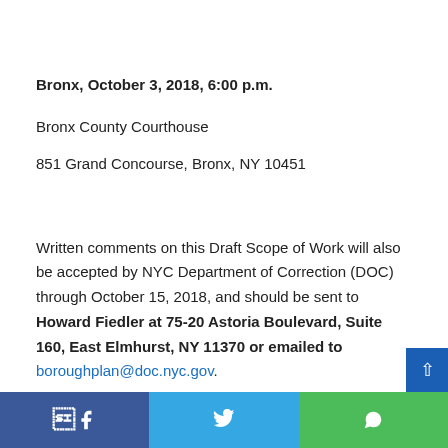Bronx, October 3, 2018, 6:00 p.m.
Bronx County Courthouse
851 Grand Concourse, Bronx, NY 10451
Written comments on this Draft Scope of Work will also be accepted by NYC Department of Correction (DOC) through October 15, 2018, and should be sent to Howard Fiedler at 75-20 Astoria Boulevard, Suite 160, East Elmhurst, NY 11370 or emailed to boroughplan@doc.nyc.gov.